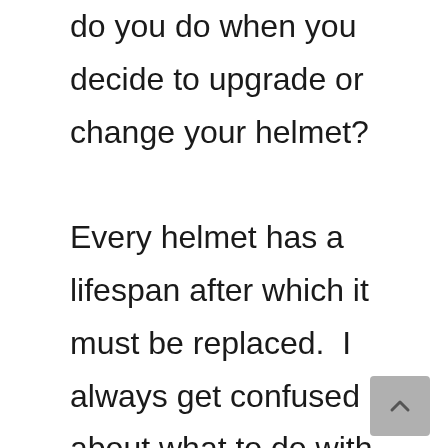do you do when you decide to upgrade or change your helmet?

Every helmet has a lifespan after which it must be replaced.  I always get confused about what to do with old motorcycle helmets? Here are the things that you can do with your old helmet. Read on while I explain each point here.